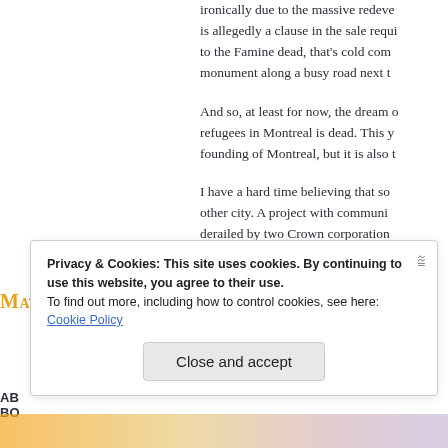ironically due to the massive redeve is allegedly a clause in the sale requi to the Famine dead, that’s cold com monument along a busy road next t
And so, at least for now, the dream o refugees in Montreal is dead. This y founding of Montreal, but it is also t
I have a hard time believing that so other city. A project with communi derailed by two Crown corporation have come as a surprise, as in, how d
Matthew Barlow
Privacy & Cookies: This site uses cookies. By continuing to use this website, you agree to their use.
To find out more, including how to control cookies, see here:
Cookie Policy
Close and accept